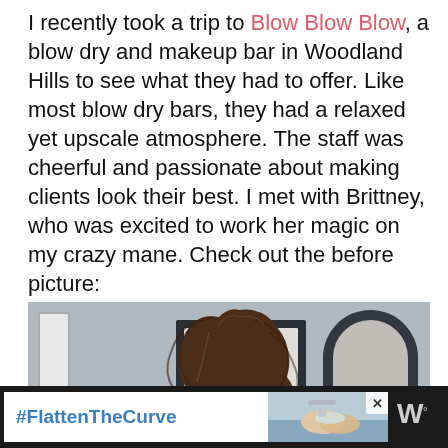I recently took a trip to Blow Blow Blow, a blow dry and makeup bar in Woodland Hills to see what they had to offer. Like most blow dry bars, they had a relaxed yet upscale atmosphere. The staff was cheerful and passionate about making clients look their best. I met with Brittney, who was excited to work her magic on my crazy mane. Check out the before picture:
[Figure (photo): Back view of a woman with long, voluminous, curly/frizzy dark brown hair seated at a salon styling station. Mirrors and salon decor visible in background.]
[Figure (other): Advertisement banner with #FlattenTheCurve hashtag in blue text on white background, with an image of hands washing, and Weather Channel logo on dark background.]